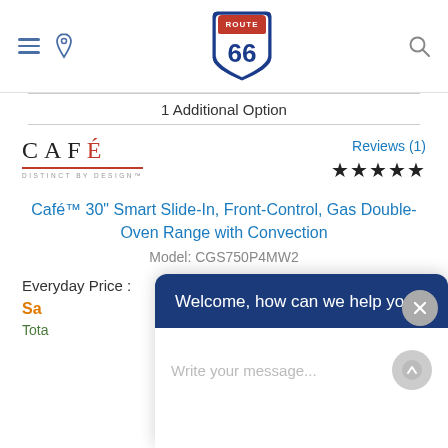Route 66 navigation header with hamburger menu, location pin, Route 66 shield logo, and search icon
1 Additional Option
[Figure (logo): Café 'Distinct by Design' brand logo with red accent on the accent character]
Reviews (1) ★★★★★
Café™ 30" Smart Slide-In, Front-Control, Gas Double-Oven Range with Convection
Model: CGS750P4MW2
Everyday Price : $3,999.00
Sa[le Price partially obscured]
Tota[l partially obscured]
Welcome, how can we help you?
Write your message...